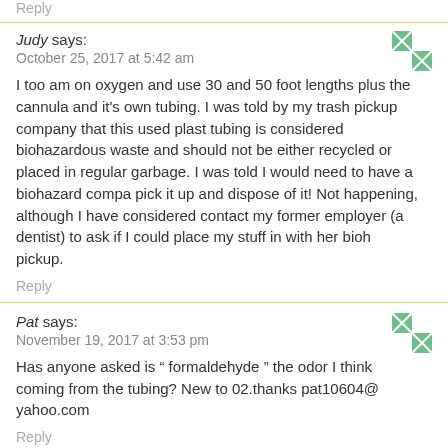Reply
Judy says:
October 25, 2017 at 5:42 am
I too am on oxygen and use 30 and 50 foot lengths plus the cannula and it's own tubing. I was told by my trash pickup company that this used plastic tubing is considered biohazardous waste and should not be either recycled or placed in regular garbage. I was told I would need to have a biohazard company pick it up and dispose of it! Not happening, although I have considered contacting my former employer (a dentist) to ask if I could place my stuff in with her biohazard pickup.
Reply
Pat says:
November 19, 2017 at 3:53 pm
Has anyone asked is " formaldehyde " the odor I think coming from the tubing? New to 02.thanks pat10604@ yahoo.com
Reply
Fran says: